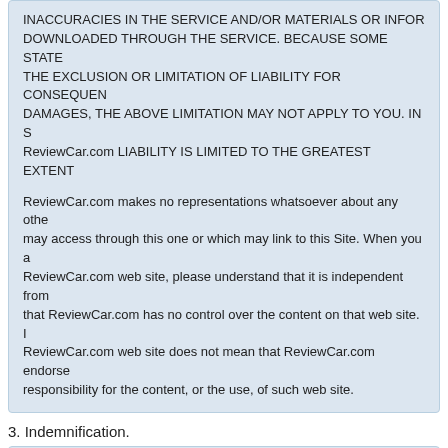INACCURACIES IN THE SERVICE AND/OR MATERIALS OR INFOR... DOWNLOADED THROUGH THE SERVICE. BECAUSE SOME STATE... THE EXCLUSION OR LIMITATION OF LIABILITY FOR CONSEQUEN... DAMAGES, THE ABOVE LIMITATION MAY NOT APPLY TO YOU. IN S... ReviewCar.com LIABILITY IS LIMITED TO THE GREATEST EXTENT...
ReviewCar.com makes no representations whatsoever about any othe... may access through this one or which may link to this Site. When you a... ReviewCar.com web site, please understand that it is independent from... that ReviewCar.com has no control over the content on that web site. I... ReviewCar.com web site does not mean that ReviewCar.com endorse... responsibility for the content, or the use, of such web site.
3. Indemnification.
You agree to indemnify, defend and hold harmless ReviewCar.com, its... employees, agents, licensors, suppliers and any third party information... Service from and against all losses, expenses, damages and costs, inc... attorneys' fees, resulting from any violation of this Agreement (includin...